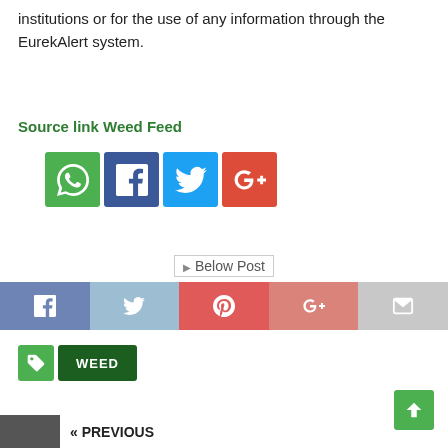institutions or for the use of any information through the EurekAlert system.
Source link Weed Feed
[Figure (other): Row of four social media share icons: WhatsApp (green), Facebook (dark blue), Twitter (blue), Google+ (red)]
[Figure (other): Below Post image placeholder with text 'Below Post']
[Figure (other): Social sharing bar with Facebook, Twitter, Pinterest, Google+, and Email icons]
WEED
[Figure (other): Scroll to top button (green, up arrow)]
« PREVIOUS
English